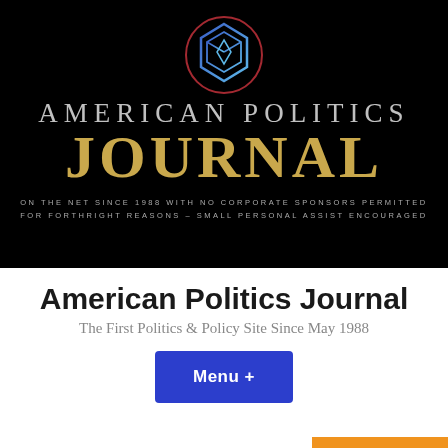[Figure (logo): American Politics Journal banner with hexagonal 3D logo graphic on black background, large gold JOURNAL text and grey AMERICAN POLITICS text, tagline about being on the net since 1988]
American Politics Journal
The First Politics & Policy Site Since May 1988
Menu +
[Figure (other): Row of chain-link/hyperlink icons and Translate button]